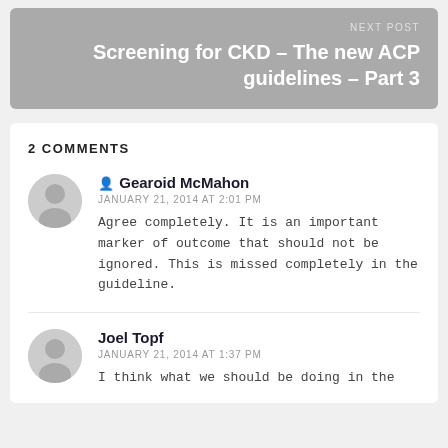NEXT POST
Screening for CKD – The new ACP guidelines – Part 3
2 COMMENTS
Gearoid McMahon
JANUARY 21, 2014 AT 2:01 PM
Agree completely. It is an important marker of outcome that should not be ignored. This is missed completely in the guideline.
Joel Topf
JANUARY 21, 2014 AT 1:37 PM
I think what we should be doing in the